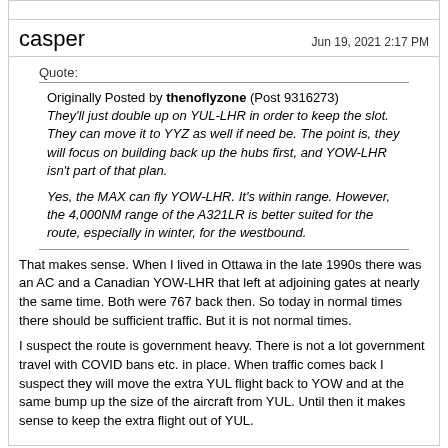casper   Jun 19, 2021 2:17 PM
Quote:
Originally Posted by thenoflyzone (Post 9316273)
They'll just double up on YUL-LHR in order to keep the slot. They can move it to YYZ as well if need be. The point is, they will focus on building back up the hubs first, and YOW-LHR isn't part of that plan.

Yes, the MAX can fly YOW-LHR. It's within range. However, the 4,000NM range of the A321LR is better suited for the route, especially in winter, for the westbound.
That makes sense. When I lived in Ottawa in the late 1990s there was an AC and a Canadian YOW-LHR that left at adjoining gates at nearly the same time. Both were 767 back then. So today in normal times there should be sufficient traffic. But it is not normal times.
I suspect the route is government heavy. There is not a lot government travel with COVID bans etc. in place. When traffic comes back I suspect they will move the extra YUL flight back to YOW and at the same bump up the size of the aircraft from YUL. Until then it makes sense to keep the extra flight out of YUL.